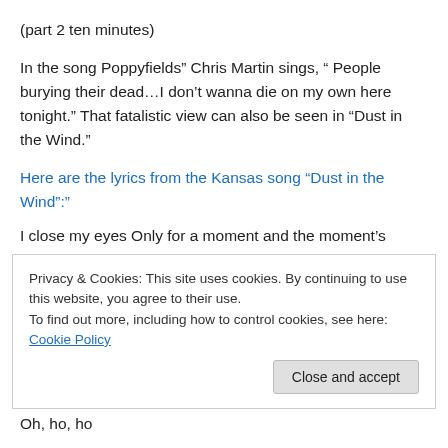(part 2 ten minutes)
In the song Poppyfields” Chris Martin sings, “ People burying their dead…I don’t wanna die on my own here tonight.” That fatalistic view can also be seen in “Dust in the Wind.”
Here are the lyrics from the Kansas song “Dust in the Wind”:”
I close my eyes Only for a moment and the moment’s
Privacy & Cookies: This site uses cookies. By continuing to use this website, you agree to their use.
To find out more, including how to control cookies, see here: Cookie Policy
Oh, ho, ho